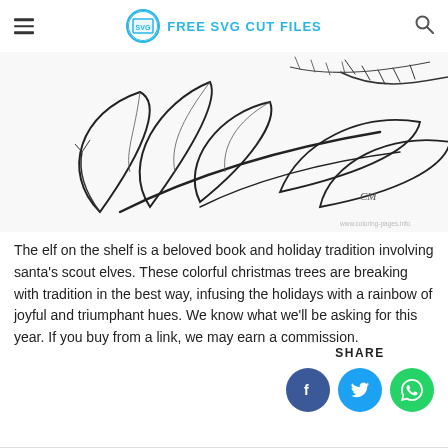FREE SVG CUT FILES
[Figure (illustration): Black and white line drawing of holly leaves and branches, coloring page style. Watermark: www.coloring-pages.info]
The elf on the shelf is a beloved book and holiday tradition involving santa’s scout elves. These colorful christmas trees are breaking with tradition in the best way, infusing the holidays with a rainbow of joyful and triumphant hues. We know what we'll be asking for this year. If you buy from a link, we may earn a commission.
SHARE